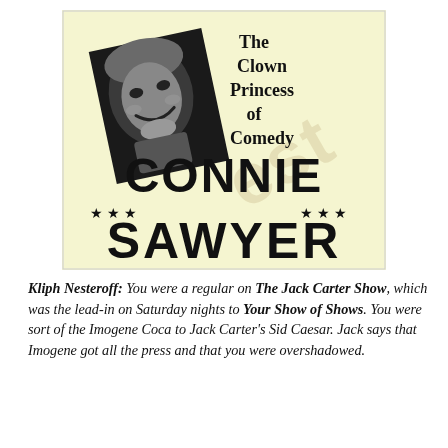[Figure (illustration): Promotional poster for Connie Sawyer titled 'The Clown Princess of Comedy'. Yellow/cream background with a tilted black-and-white photo of a smiling woman in the upper left, bold text 'The Clown Princess of Comedy' on the upper right, large bold text 'CONNIE' in the center, a row of stars on both sides, and large bold text 'SAWYER' at the bottom. A faint watermark-style text appears diagonally across the poster.]
Kliph Nesteroff: You were a regular on The Jack Carter Show, which was the lead-in on Saturday nights to Your Show of Shows. You were sort of the Imogene Coca to Jack Carter's Sid Caesar. Jack says that Imogene got all the press and that you were overshadowed.